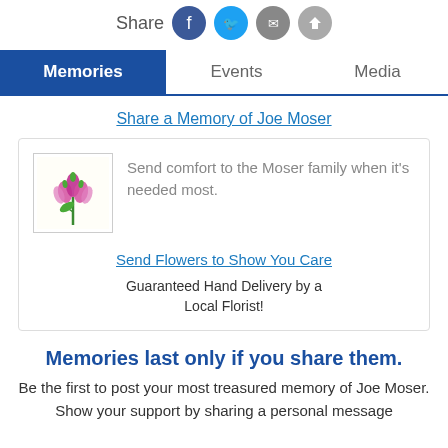[Figure (infographic): Share bar with social media icons: Facebook (blue), Twitter (cyan), Email (gray), other (gray)]
Memories | Events | Media
Share a Memory of Joe Moser
[Figure (illustration): Flower bouquet image inside a bordered box with text: Send comfort to the Moser family when it's needed most. Link: Send Flowers to Show You Care. Guaranteed Hand Delivery by a Local Florist!]
Memories last only if you share them.
Be the first to post your most treasured memory of Joe Moser. Show your support by sharing a personal message